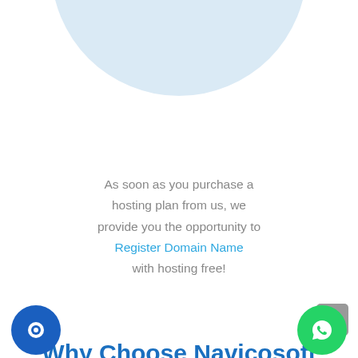[Figure (illustration): Light blue half-circle decorative background at the top of the page]
As soon as you purchase a hosting plan from us, we provide you the opportunity to Register Domain Name with hosting free!
[Figure (other): Gray scroll-to-top button with upward chevron arrow]
Why Choose Navicosoft For Joomla Hosting?
Navicosoft is your technology partner, fulfilling all requirements a perfect hosting provider should have. With powerful
[Figure (other): Blue circular chat/support button at bottom left]
[Figure (other): Green WhatsApp button at bottom right]